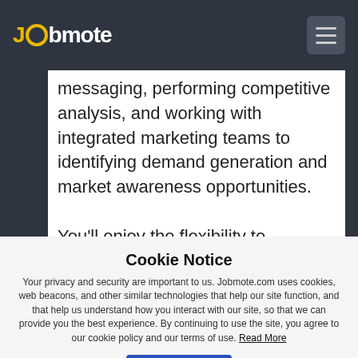Jobmote
messaging, performing competitive analysis, and working with integrated marketing teams to identifying demand generation and market awareness opportunities.

You'll enjoy the flexibility to telecommute* from anywhere within the U.S. as you take on some tough
Cookie Notice
Your privacy and security are important to us. Jobmote.com uses cookies, web beacons, and other similar technologies that help our site function, and that help us understand how you interact with our site, so that we can provide you the best experience. By continuing to use the site, you agree to our cookie policy and our terms of use. Read More
Dismiss